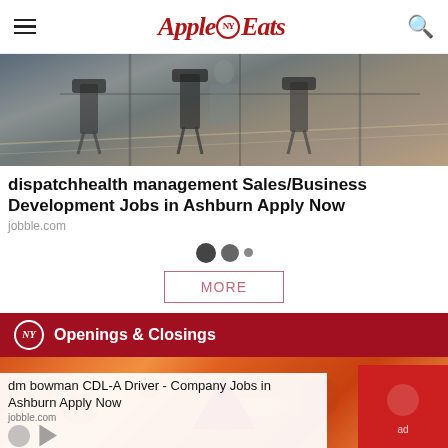Apple NY Eats
[Figure (photo): Office chairs and furniture in a dark industrial space]
dispatchhealth management Sales/Business Development Jobs in Ashburn Apply Now
jobble.com
[Figure (other): Pagination dots: two large dark dots and one small dot]
MORE
Openings & Closings
[Figure (photo): Close-up of a pizza with pepperoni and cheese, with a red triangle/arrow overlay and an ad overlay reading: dm bowman CDL-A Driver - Company Jobs in Ashburn Apply Now, jobble.com]